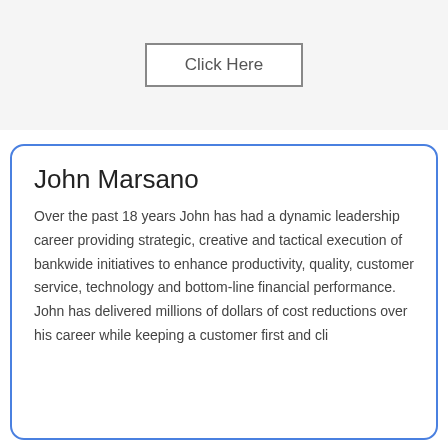[Figure (other): Button labeled 'Click Here' with border on a light gray background]
John Marsano
Over the past 18 years John has had a dynamic leadership career providing strategic, creative and tactical execution of bankwide initiatives to enhance productivity, quality, customer service, technology and bottom-line financial performance. John has delivered millions of dollars of cost reductions over his career while keeping a customer first and cli...